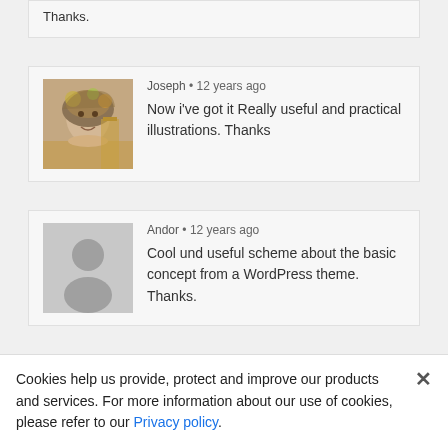Thanks.
Joseph • 12 years ago
Now i've got it Really useful and practical illustrations. Thanks
Andor • 12 years ago
Cool und useful scheme about the basic concept from a WordPress theme. Thanks.
Cookies help us provide, protect and improve our products and services. For more information about our use of cookies, please refer to our Privacy policy.